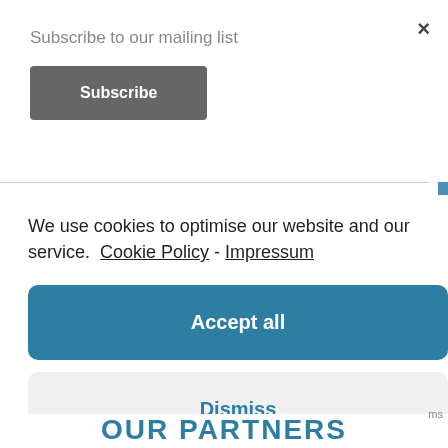Subscribe to our mailing list
Subscribe
×
We use cookies to optimise our website and our service.  Cookie Policy  -  Impressum
Accept all
Dismiss
Preferences
OUR PARTNERS